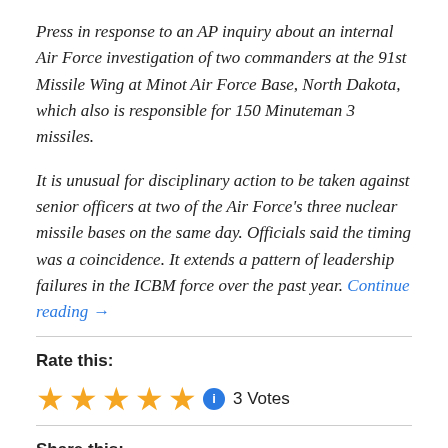Press in response to an AP inquiry about an internal Air Force investigation of two commanders at the 91st Missile Wing at Minot Air Force Base, North Dakota, which also is responsible for 150 Minuteman 3 missiles.
It is unusual for disciplinary action to be taken against senior officers at two of the Air Force's three nuclear missile bases on the same day. Officials said the timing was a coincidence. It extends a pattern of leadership failures in the ICBM force over the past year. Continue reading →
Rate this:
[Figure (other): Five gold star rating icons followed by a blue info/rate circle icon and the text '3 Votes']
Share this: